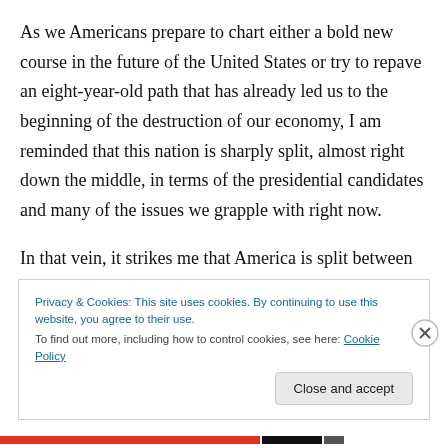As we Americans prepare to chart either a bold new course in the future of the United States or try to repave an eight-year-old path that has already led us to the beginning of the destruction of our economy, I am reminded that this nation is sharply split, almost right down the middle, in terms of the presidential candidates and many of the issues we grapple with right now.
In that vein, it strikes me that America is split between “Red States” and “Blue States,” between rich and everyone else, between liberal and conservative, between
Privacy & Cookies: This site uses cookies. By continuing to use this website, you agree to their use.
To find out more, including how to control cookies, see here: Cookie Policy